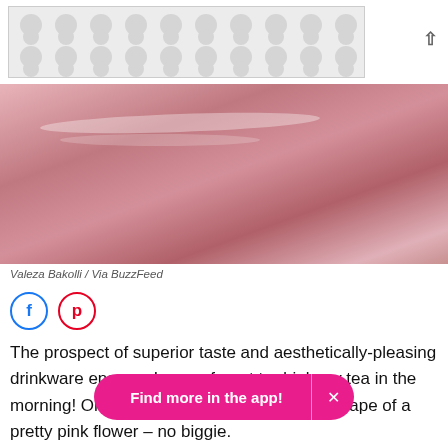[Figure (other): Advertisement banner with polka-dot/teardrop pattern background]
[Figure (photo): Close-up photo of a pink ceramic teacup and saucer]
Valeza Bakolli / Via BuzzFeed
[Figure (other): Social sharing icons: Facebook (blue circle) and Pinterest (red circle)]
The prospect of superior taste and aesthetically-pleasing drinkware ensures I never forget to drink my tea in the morning! Oh, and the saucer comes in the shape of a pretty pink flower – no biggie.
Price: £12.81
[Figure (other): Find more in the app! button in pink with X close button]